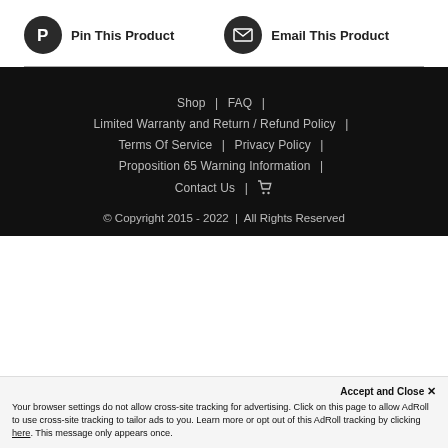Pin This Product
Email This Product
Shop | FAQ | Limited Warranty and Return / Refund Policy | Terms Of Service | Privacy Policy | Proposition 65 Warning Information | Contact Us | [cart] © Copyright 2015 - 2022 | All Rights Reserved
Accept and Close ✕
Your browser settings do not allow cross-site tracking for advertising. Click on this page to allow AdRoll to use cross-site tracking to tailor ads to you. Learn more or opt out of this AdRoll tracking by clicking here. This message only appears once.